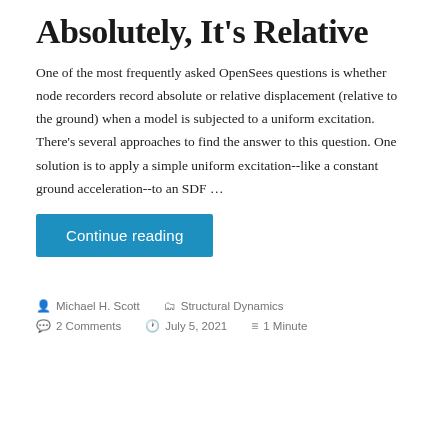Absolutely, It's Relative
One of the most frequently asked OpenSees questions is whether node recorders record absolute or relative displacement (relative to the ground) when a model is subjected to a uniform excitation. There's several approaches to find the answer to this question. One solution is to apply a simple uniform excitation--like a constant ground acceleration--to an SDF …
Continue reading
Michael H. Scott   Structural Dynamics   2 Comments   July 5, 2021   1 Minute